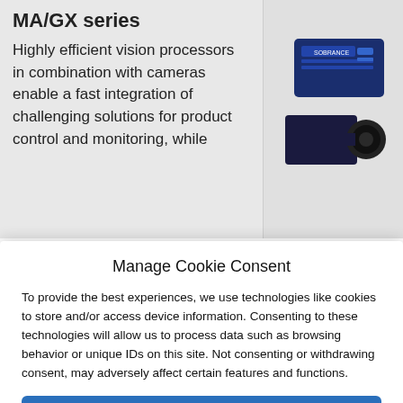MA/GX series
Highly efficient vision processors in combination with cameras enable a fast integration of challenging solutions for product control and monitoring, while
[Figure (photo): Photo of industrial vision processor hardware units - a blue box-shaped device and a camera module]
Manage Cookie Consent
To provide the best experiences, we use technologies like cookies to store and/or access device information. Consenting to these technologies will allow us to process data such as browsing behavior or unique IDs on this site. Not consenting or withdrawing consent, may adversely affect certain features and functions.
Accept
Deny
View preferences
Cookie Policy   GDPR